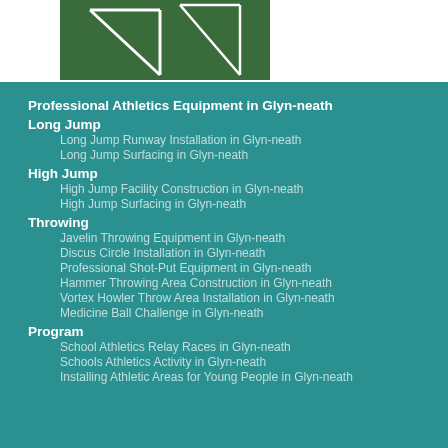[Figure (photo): Sports facility with white line markings on green surface]
Professional Athletics Equipment in Glyn-neath
Long Jump
Long Jump Runway Installation in Glyn-neath
Long Jump Surfacing in Glyn-neath
High Jump
High Jump Facility Construction in Glyn-neath
High Jump Surfacing in Glyn-neath
Throwing
Javelin Throwing Equipment in Glyn-neath
Discus Circle Installation in Glyn-neath
Professional Shot-Put Equipment in Glyn-neath
Hammer Throwing Area Construction in Glyn-neath
Vortex Howler Throw Area Installation in Glyn-neath
Medicine Ball Challenge in Glyn-neath
Program
School Athletics Relay Races in Glyn-neath
Schools Athletics Activity in Glyn-neath
Installing Athletic Areas for Young People in Glyn-neath